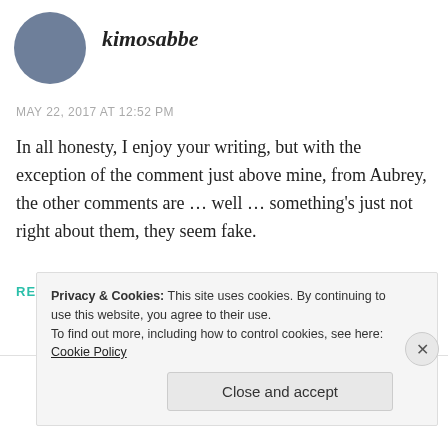kimosabbe
MAY 22, 2017 AT 12:52 PM
In all honesty, I enjoy your writing, but with the exception of the comment just above mine, from Aubrey, the other comments are … well … something's just not right about them, they seem fake.
REPLY
Privacy & Cookies: This site uses cookies. By continuing to use this website, you agree to their use.
To find out more, including how to control cookies, see here: Cookie Policy
Close and accept